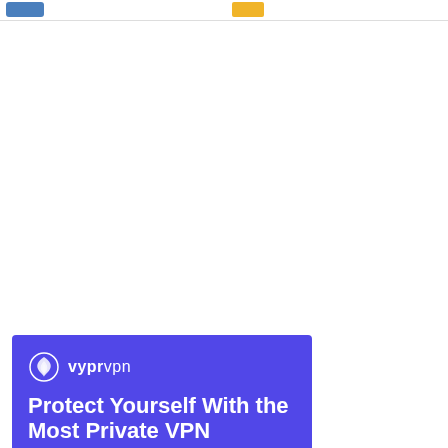[Figure (screenshot): Web page screenshot showing a navigation bar at the top with a blue button on the left and a yellow button in the center, and a VyprVPN advertisement banner at the bottom left showing the VyprVPN logo and the text 'Protect Yourself With the Most Private VPN' on a purple/blue background.]